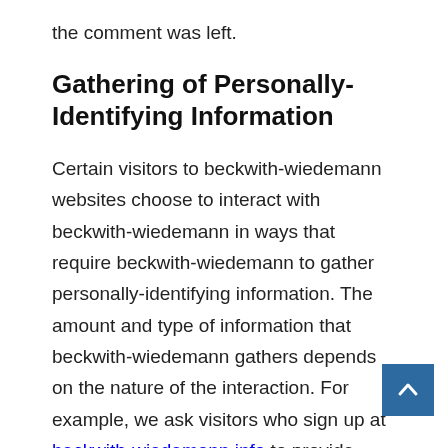the comment was left.
Gathering of Personally-Identifying Information
Certain visitors to beckwith-wiedemann websites choose to interact with beckwith-wiedemann in ways that require beckwith-wiedemann to gather personally-identifying information. The amount and type of information that beckwith-wiedemann gathers depends on the nature of the interaction. For example, we ask visitors who sign up at beckwith-wiedemann.info to provide